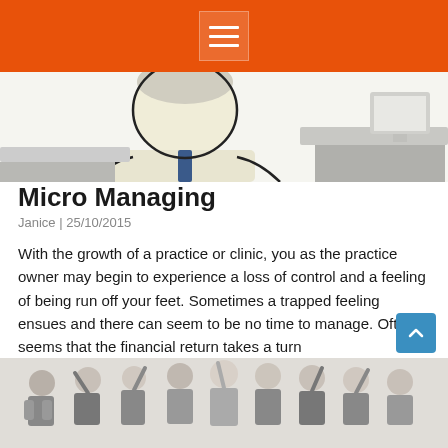Navigation menu icon on orange header bar
[Figure (illustration): Cartoon illustration of a person at a desk, partially cropped, showing head and torso with a tie, sitting at a grey desk]
Micro Managing
Janice | 25/10/2015
With the growth of a practice or clinic, you as the practice owner may begin to experience a loss of control and a feeling of being run off your feet. Sometimes a trapped feeling ensues and there can seem to be no time to manage. Often it seems that the financial return takes a turn
Read More »
[Figure (photo): Photo of a group of business people celebrating with arms raised, cropped at bottom of page]